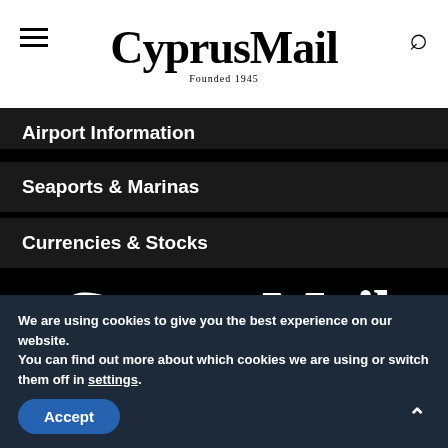CyprusMail Founded 1945
Airport Information
Seaports & Marinas
Currencies & Stocks
[Figure (logo): CyprusMail logo large white on black, with 'Founded 1945' subtitle]
We are using cookies to give you the best experience on our website.
You can find out more about which cookies we are using or switch them off in settings.
Accept